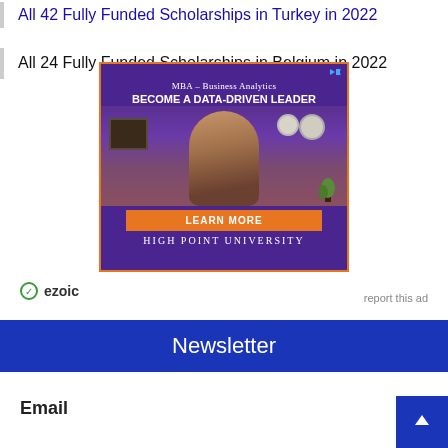All 42 Fully Funded Scholarships in Turkey in 2022
All 24 Fully Funded Scholarships in Belgium in 2022
[Figure (photo): Advertisement banner for High Point University MBA – Business Analytics program. Purple background with image of a smiling woman, orange Learn More button, and text 'BECOME A DATA-DRIVEN LEADER'.]
ezoic   report this ad
Newsletter
Email